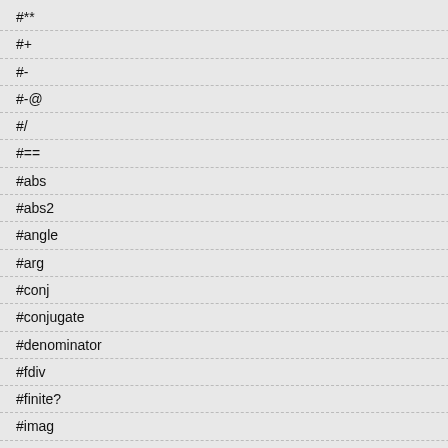#**
#+
#-
#-@
#/
#==
#abs
#abs2
#angle
#arg
#conj
#conjugate
#denominator
#fdiv
#finite?
#imag
#imaginary
#infinite?
#inspect
#magnitude
#numerator
You can also create c
[Figure (screenshot): Dark code block showing: Complex(0.3), Complex('0.3-0.5i'), Complex('2/3+3/4i'), Complex('1@2'), 0.3.to_c, '0.3-0.5i'.to_c, '2/3+3/4i'.to_c, '1@2'.to_c]
A complex object is
[Figure (screenshot): Dark code block showing: Complex(1, 1) / 2, Complex(1, 1) / 2]